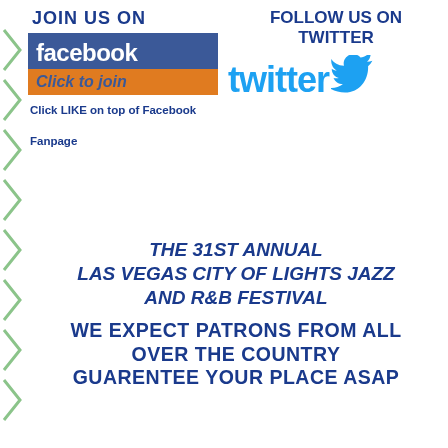[Figure (illustration): Decorative green chevron/arrow shapes running down the left side of the page]
JOIN US ON
[Figure (logo): Facebook logo box: blue rectangle with 'facebook' in white bold text, orange rectangle below with 'Click to join' in dark blue italic bold text]
Click LIKE on top of Facebook Fanpage
FOLLOW US ON TWITTER
[Figure (logo): Twitter logo: cyan/light-blue 'twitter' text with Twitter bird icon]
THE 31ST ANNUAL LAS VEGAS CITY OF LIGHTS JAZZ AND R&B FESTIVAL
WE EXPECT PATRONS FROM ALL OVER THE COUNTRY GUARENTEE YOUR PLACE ASAP